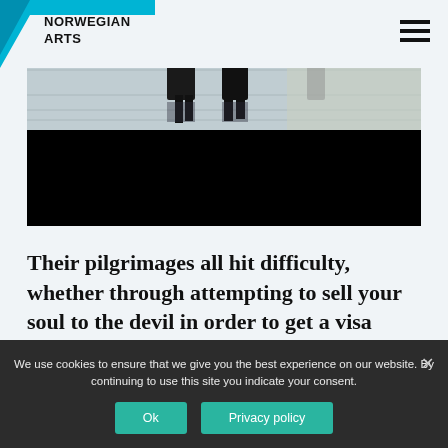NORWEGIAN ARTS
[Figure (photo): A dark cinematic image showing figures walking on wet tiled pavement, lower half visible, with a large black area below]
Their pilgrimages all hit difficulty, whether through attempting to sell your soul to the devil in order to get a visa (Héctor), not being
We use cookies to ensure that we give you the best experience on our website. By continuing to use this site you indicate your consent.